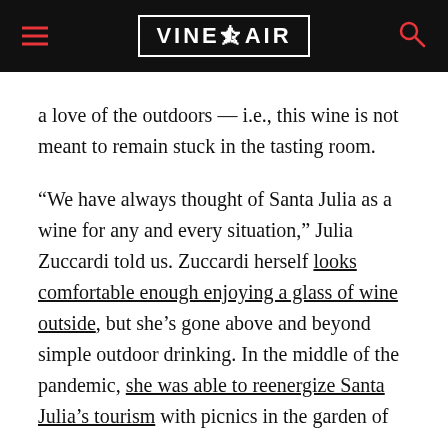VINEPAIR
a love of the outdoors — i.e., this wine is not meant to remain stuck in the tasting room.
“We have always thought of Santa Julia as a wine for any and every situation,” Julia Zuccardi told us. Zuccardi herself looks comfortable enough enjoying a glass of wine outside, but she’s gone above and beyond simple outdoor drinking. In the middle of the pandemic, she was able to reenergize Santa Julia’s tourism with picnics in the garden of